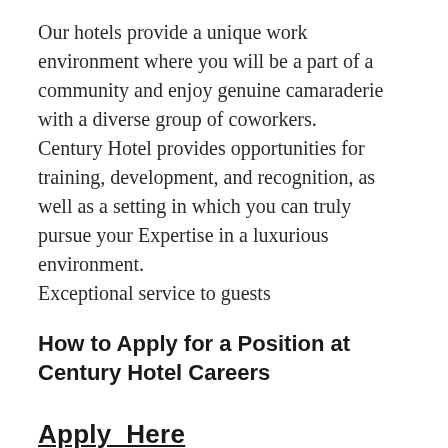Our hotels provide a unique work environment where you will be a part of a community and enjoy genuine camaraderie with a diverse group of coworkers.
Century Hotel provides opportunities for training, development, and recognition, as well as a setting in which you can truly pursue your Expertise in a luxurious environment.
Exceptional service to guests
How to Apply for a Position at Century Hotel Careers
Apply_Here
Candidates interested in applying for jobs at